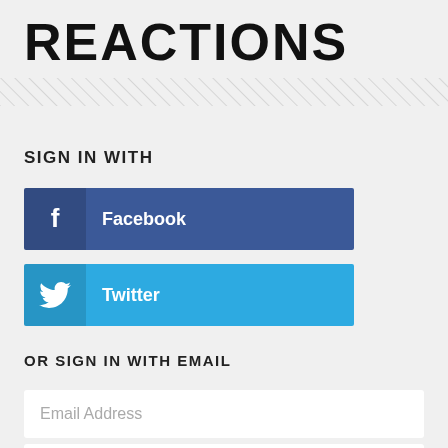REACTIONS
SIGN IN WITH
[Figure (other): Facebook sign-in button with Facebook logo icon on dark blue left panel and 'Facebook' text on blue background]
[Figure (other): Twitter sign-in button with Twitter bird logo icon on darker cyan left panel and 'Twitter' text on cyan background]
OR SIGN IN WITH EMAIL
Email Address
Password